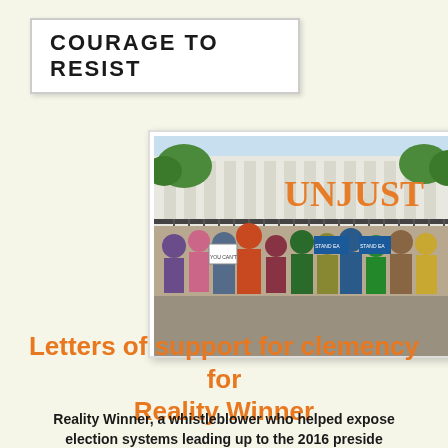COURAGE TO RESIST
[Figure (photo): Group of protesters standing in front of the White House holding signs and large orange letters spelling 'UNJUST'. Protesters are colorfully dressed and holding campaign signs.]
Letters of support for clemency for Reality Winner
Reality Winner, a whistleblower who helped expose election systems leading up to the 2016 preside...